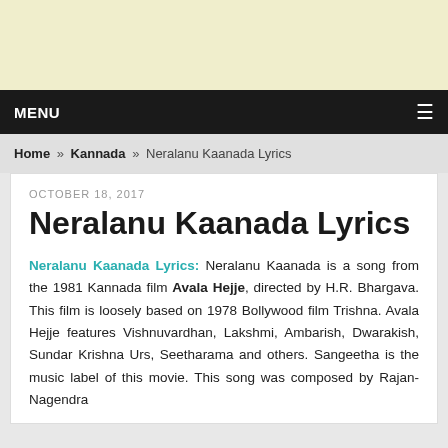[Figure (other): Advertisement banner, light yellow background]
MENU ≡
Home » Kannada » Neralanu Kaanada Lyrics
OCTOBER 18, 2017
Neralanu Kaanada Lyrics
Neralanu Kaanada Lyrics: Neralanu Kaanada is a song from the 1981 Kannada film Avala Hejje, directed by H.R. Bhargava. This film is loosely based on 1978 Bollywood film Trishna. Avala Hejje features Vishnuvardhan, Lakshmi, Ambarish, Dwarakish, Sundar Krishna Urs, Seetharama and others. Sangeetha is the music label of this movie. This song was composed by Rajan-Nagendra